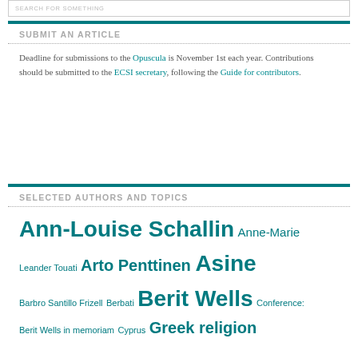SUBMIT AN ARTICLE
Deadline for submissions to the Opuscula is November 1st each year. Contributions should be submitted to the ECSI secretary, following the Guide for contributors.
SELECTED AUTHORS AND TOPICS
Ann-Louise Schallin Anne-Marie Leander Touati Arto Penttinen Asine Barbro Santillo Frizell Berbati Berit Wells Conference: Berit Wells in memoriam Cyprus Greek religion